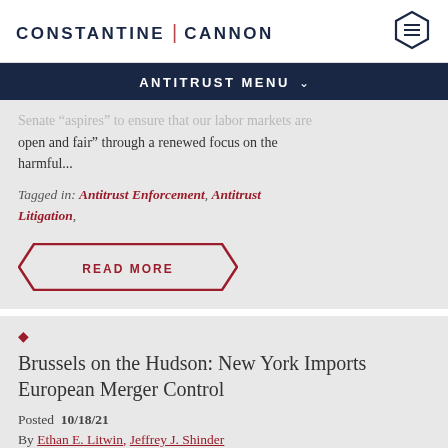CONSTANTINE | CANNON
ANTITRUST MENU
Senate” aspires “to ensure that our labor markets are open and fair” through a renewed focus on the harmful...
Tagged in: Antitrust Enforcement, Antitrust Litigation,
READ MORE
[Figure (other): Diamond bullet point in red]
Brussels on the Hudson: New York Imports European Merger Control
Posted 10/18/21
By Ethan E. Litwin, Jeffrey J. Shinder